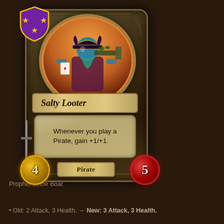[Figure (illustration): Hearthstone Battlegrounds card: Salty Looter. A troll pirate character holding a large weapon, in an oval portrait frame. Card has attack value 4, health value 5, type Pirate. Three gold stars on purple badge. Card text: Whenever you play a Pirate, gain +1/+1.]
Prophet of the Boar
Old: 2 Attack, 3 Health. → New: 3 Attack, 3 Health.